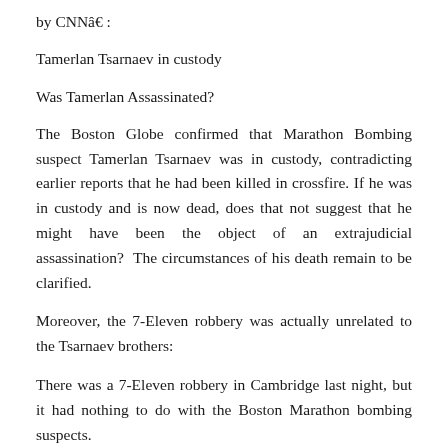by CNNâ€ :
Tamerlan Tsarnaev in custody
Was Tamerlan Assassinated?
The Boston Globe confirmed that Marathon Bombing suspect Tamerlan Tsarnaev was in custody, contradicting earlier reports that he had been killed in crossfire. If he was in custody and is now dead, does that not suggest that he might have been the object of an extrajudicial assassination? The circumstances of his death remain to be clarified.
Moreover, the 7-Eleven robbery was actually unrelated to the Tsarnaev brothers:
There was a 7-Eleven robbery in Cambridge last night, but it had nothing to do with the Boston Marathon bombing suspects.